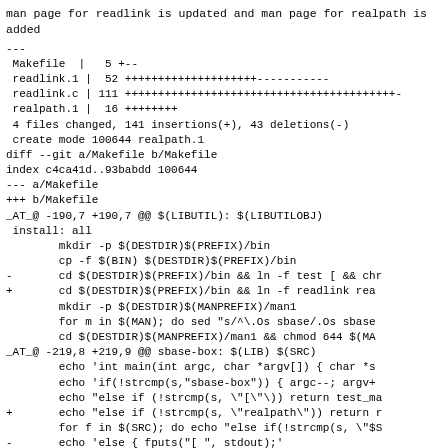man page for readlink is updated and man page for realpath is added
---
 Makefile  |   5 +--
 readlink.1 |  52 ++++++++++++++++++++-----------
 readlink.c | 111 +++++++++++++++++++++++++++++++++++++++++-
 realpath.1 |  16 ++++++++
 4 files changed, 141 insertions(+), 43 deletions(-)
 create mode 100644 realpath.1
diff --git a/Makefile b/Makefile
index c4ca41d..93babdd 100644
--- a/Makefile
+++ b/Makefile
_AT_@ -190,7 +190,7 @@ $(LIBUTIL): $(LIBUTILOBJ)
 install: all
        mkdir -p $(DESTDIR)$(PREFIX)/bin
        cp -f $(BIN) $(DESTDIR)$(PREFIX)/bin
-       cd $(DESTDIR)$(PREFIX)/bin && ln -f test [ && chr
+       cd $(DESTDIR)$(PREFIX)/bin && ln -f readlink rea
        mkdir -p $(DESTDIR)$(MANPREFIX)/man1
        for m in $(MAN); do sed "s/^\.Os sbase/.Os sbase
        cd $(DESTDIR)$(MANPREFIX)/man1 && chmod 644 $(MA
_AT_@ -219,8 +219,9 @@ sbase-box: $(LIB) $(SRC)
        echo 'int main(int argc, char *argv[]) { char *s
        echo 'if(!strcmp(s,"sbase-box")) { argc--; argv+
        echo "else if (!strcmp(s, \"[\"\)) return test_ma
+       echo "else if (!strcmp(s, \"realpath\")) return r
        for f in $(SRC); do echo "else if(!strcmp(s, \"$S
-       echo 'else { fputs("[ ", stdout);'
+      echo 'else { fputs("[readlink]", stdout);'